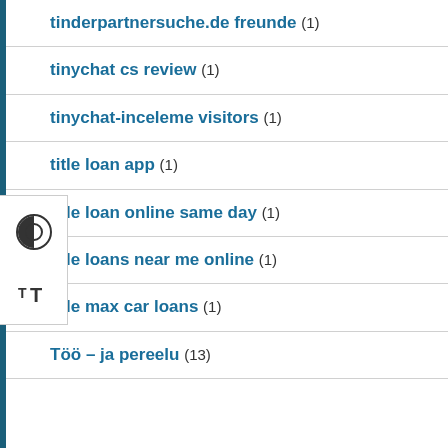tinderpartnersuche.de freunde (1)
tinychat cs review (1)
tinychat-inceleme visitors (1)
title loan app (1)
title loan online same day (1)
title loans near me online (1)
title max car loans (1)
Töö – ja pereelu (13)